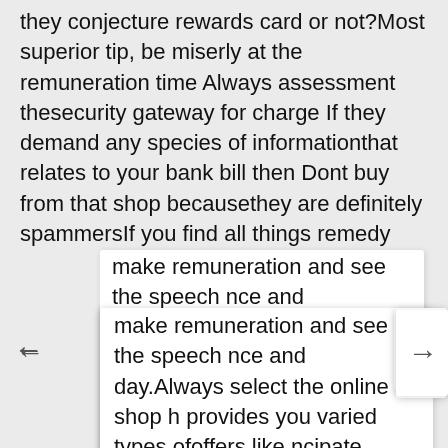they conjecture rewards card or not?Most superior tip, be miserly at the remuneration time Always assessment thesecurity gateway for charge If they demand any species of informationthat relates to your bank bill then Dont buy from that shop becausethey are definitely spammersIf you find all things remedy make remuneration and see the speech nce and day.Always select the online shop h provides you varied types ofoffers like ncipate shipping on buying multiple items and so on So dontbuy single single items. Make a record and then buy all items togetherand reuse you moneyFollow the above steps and enjoy your onlineFashion jewelry shopping Through online shopping you can buyextra-ordinary Fashion jewelry with less effort and moreover according toyour budget. No case limitation and no one to